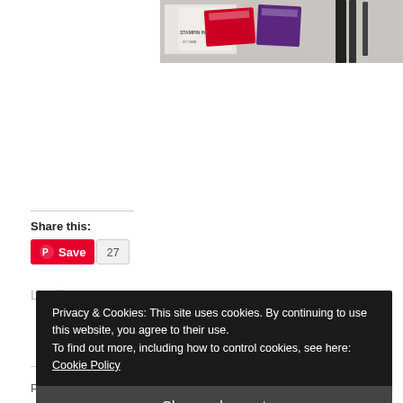[Figure (photo): Partial photo of craft/stamping supplies including red and purple packaging, visible at top of page]
Share this:
Save 27
Loading...
Privacy & Cookies: This site uses cookies. By continuing to use this website, you agree to their use.
To find out more, including how to control cookies, see here: Cookie Policy
Close and accept
Postcard Pals – CASEing the